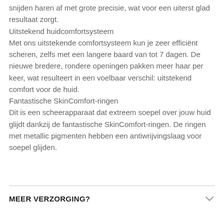snijden haren af met grote precisie, wat voor een uiterst glad resultaat zorgt.
Uitstekend huidcomfortsysteem
Met ons uitstekende comfortsysteem kun je zeer efficiënt scheren, zelfs met een langere baard van tot 7 dagen. De nieuwe bredere, rondere openingen pakken meer haar per keer, wat resulteert in een voelbaar verschil: uitstekend comfort voor de huid.
Fantastische SkinComfort-ringen
Dit is een scheerapparaat dat extreem soepel over jouw huid glijdt dankzij de fantastische SkinComfort-ringen. De ringen met metallic pigmenten hebben een antiwrijvingslaag voor soepel glijden.
MEER VERZORGING?